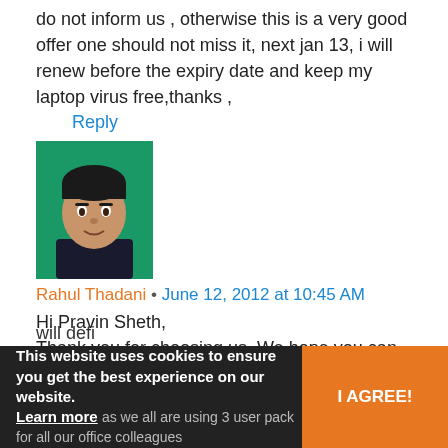do not inform us , otherwise this is a very good offer one should not miss it, next jan 13, i will renew before the expiry date and keep my laptop virus free,thanks ,
Reply
[Figure (photo): Profile photo of a young man against a green background]
Rahul Thadani • June 12, 2012 at 10:45 AM
Hi Pravin Sheth,
Thank you for choosing us. We hope you can enjoy these benefits in the future.
Reply
[Figure (photo): Generic user avatar silhouette on gray background]
This website uses cookies to ensure you get the best experience on our website. Learn more
I AGREE!